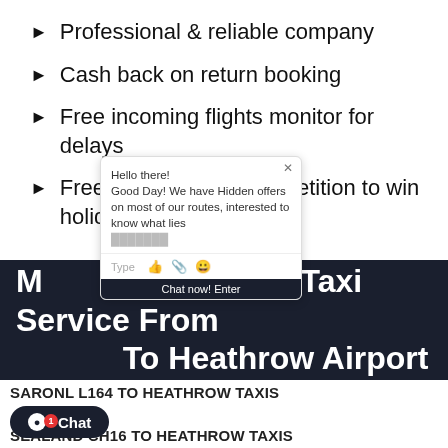Professional & reliable company
Cash back on return booking
Free incoming flights monitor for delays
Free taxi transfers competition to win holiday Prizes
[Figure (screenshot): Chat popup overlay with message: Hello there! Good Day! We have Hidden offers on most of our routes, interested to know what lies... with Type bar and chat icons, and a 'Chat now! Enter' bottom bar]
SN169 Taxi Service From To Heathrow Airport
SARONL L164 TO HEATHROW TAXIS
SEALAND CH16 TO HEATHROW TAXIS